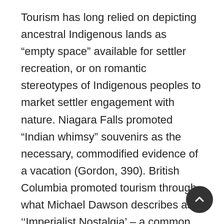Tourism has long relied on depicting ancestral Indigenous lands as “empty space” available for settler recreation, or on romantic stereotypes of Indigenous peoples to market settler engagement with nature. Niagara Falls promoted “Indian whimsy” souvenirs as the necessary, commodified evidence of a vacation (Gordon, 390). British Columbia promoted tourism through what Michael Dawson describes as ‘‘Imperialist Nostalgia’ – a common endeavor in which we absolve our complicity in imperialism by mourning the passing of a society that we helped to transform or subdue” (Dawson, 168). Thus, for example, tourism ads described totem poles as relics of an Indigenous form supposedly “lost through neglect.” Banff